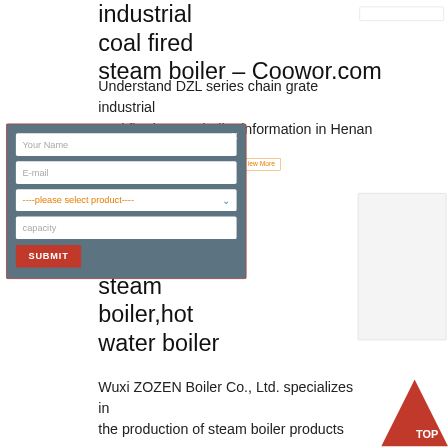industrial coal fired steam boiler – Coowor.com
Understand DZL series chain grate industrial coal fired steam boiler information in Henan on Ltd company, and
iew More
[Figure (screenshot): Modal contact form with fields: Your Name, E-mail, please select product dropdown, capacity, and SUBMIT button on a blue-grey background with red border and X close button]
steam boiler,hot water boiler
Wuxi ZOZEN Boiler Co., Ltd. specializes in the production of steam boiler products
[Figure (other): Red TOP button triangle shape in bottom right corner]